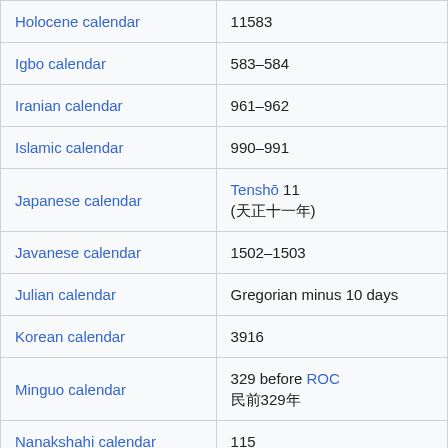| Calendar | Year |
| --- | --- |
| Holocene calendar | 11583 |
| Igbo calendar | 583–584 |
| Iranian calendar | 961–962 |
| Islamic calendar | 990–991 |
| Japanese calendar | Tenshō 11
(天正十一年) |
| Javanese calendar | 1502–1503 |
| Julian calendar | Gregorian minus 10 days |
| Korean calendar | 3916 |
| Minguo calendar | 329 before ROC
民前329年 |
| Nanakshahi calendar | 115 |
| Thai solar calendar | 2125–2126 |